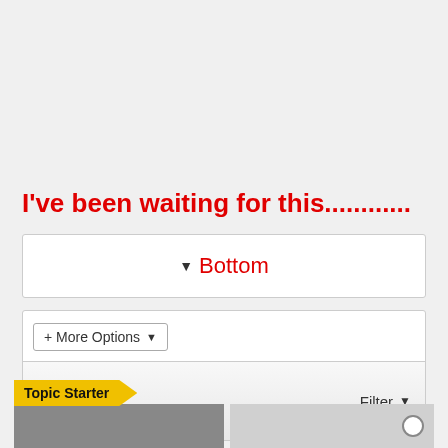I've been waiting for this............
▼ Bottom
+ More Options ▾
Filter ▼
Topic Starter